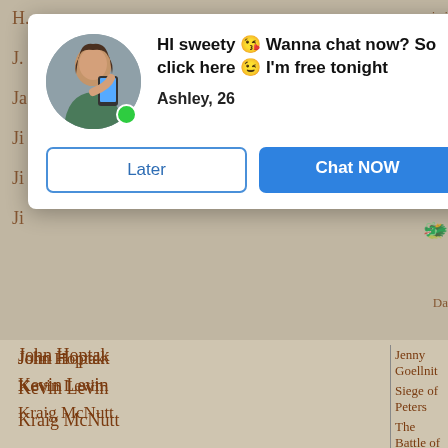[Figure (screenshot): Chat popup overlay on a book/list page. Shows a user avatar (woman with green online dot), headline 'HI sweety 😘 Wanna chat now? So click here 😉 I'm free tonight', name 'Ashley, 26', and two buttons: 'Later' (outlined) and 'Chat NOW' (blue filled).]
John Hoptak
Kevin Levin
Kraig McNutt
Lee Hutch
Mannie Gentile
Mark Grimsley
Matt Lively
Michael Aubrecht
Michael C. Hardy
Michael Lynch
Mike Block
Mike Noirot
Jenny Goellnit
Siege of Peters
The Battle of P
David Knopfle
Shadowbox Ca
The American
The Law Offic